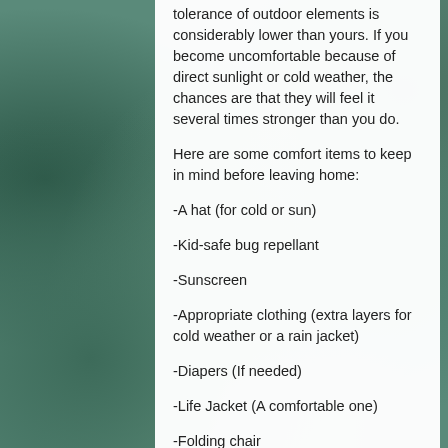tolerance of outdoor elements is considerably lower than yours. If you become uncomfortable because of direct sunlight or cold weather, the chances are that they will feel it several times stronger than you do.
Here are some comfort items to keep in mind before leaving home:
-A hat (for cold or sun)
-Kid-safe bug repellant
-Sunscreen
-Appropriate clothing (extra layers for cold weather or a rain jacket)
-Diapers (If needed)
-Life Jacket (A comfortable one)
-Folding chair